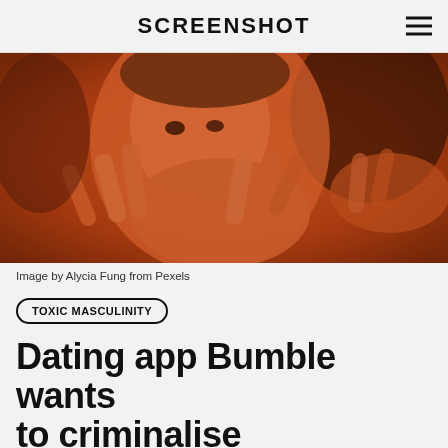SCREENSHOT
[Figure (photo): Close-up photo of a young woman with her hands raised near her face against an orange-red lit background, with another person's hands visible on the right side.]
Image by Alycia Fung from Pexels
TOXIC MASCULINITY
Dating app Bumble wants to criminalise